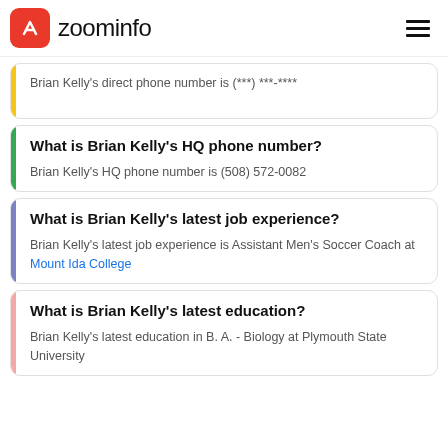zoominfo
Brian Kelly's direct phone number is (***) ***-****
What is Brian Kelly's HQ phone number?
Brian Kelly's HQ phone number is (508) 572-0082
What is Brian Kelly's latest job experience?
Brian Kelly's latest job experience is Assistant Men's Soccer Coach at Mount Ida College
What is Brian Kelly's latest education?
Brian Kelly's latest education in B. A. - Biology at Plymouth State University